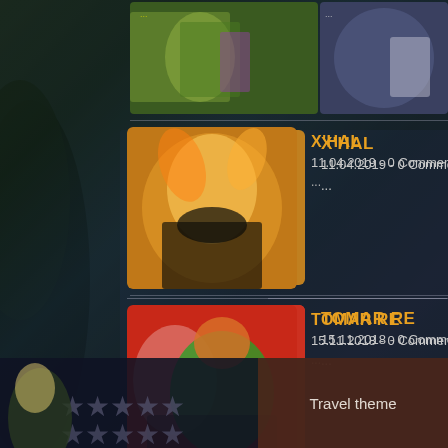[Figure (illustration): Comic book website screenshot showing character entries with thumbnails. Top strip shows comic artwork. Left column shows entries for X'HAL, TOMAR RE, and MAXI-MAN. Right column shows partial entries for other characters. Bottom shows footer with stars background and 'Travel theme' text.]
X'HAL
11.04.2019 - 0 Comments
...
TOMAR RE
15.11.2018 - 0 Comments
...
MAXI-MAN
26.08.2017 - 0 Comments
...
TU...
31...
M...
12...
M...
20...
Travel theme